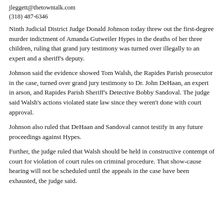jleggett@thetowntalk.com
(318) 487-6346
Ninth Judicial District Judge Donald Johnson today threw out the first-degree murder indictment of Amanda Gutweiler Hypes in the deaths of her three children, ruling that grand jury testimony was turned over illegally to an expert and a sheriff’s deputy.
Johnson said the evidence showed Tom Walsh, the Rapides Parish prosecutor in the case, turned over grand jury testimony to Dr. John DeHaan, an expert in arson, and Rapides Parish Sheriff’s Detective Bobby Sandoval. The judge said Walsh’s actions violated state law since they weren’t done with court approval.
Johnson also ruled that DeHaan and Sandoval cannot testify in any future proceedings against Hypes.
Further, the judge ruled that Walsh should be held in constructive contempt of court for violation of court rules on criminal procedure. That show-cause hearing will not be scheduled until the appeals in the case have been exhausted, the judge said.